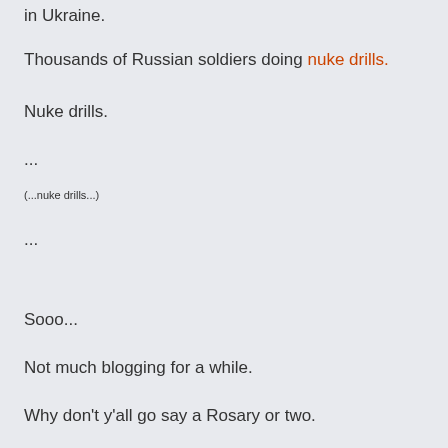in Ukraine.
Thousands of Russian soldiers doing nuke drills.
Nuke drills.
...
(...nuke drills...)
...
Sooo...
Not much blogging for a while.
Why don't y'all go say a Rosary or two.